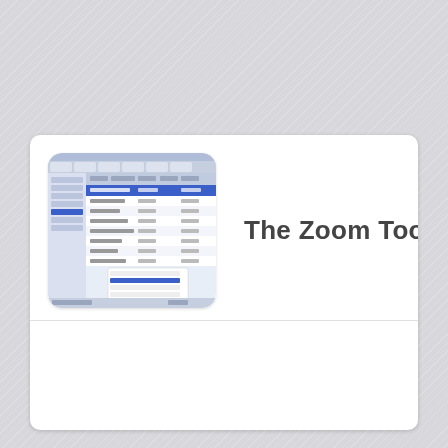[Figure (screenshot): Screenshot of a software application (spreadsheet or task manager) with blue highlighted rows and a list of items, shown inside a rounded rectangle frame]
The Zoom Tool